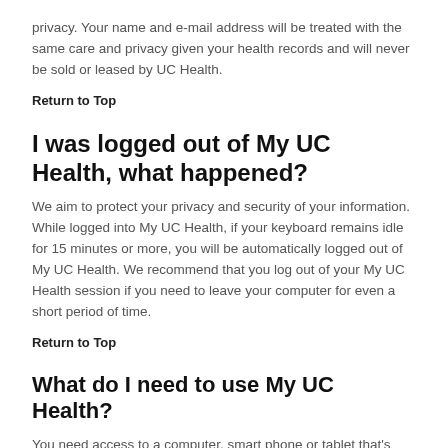privacy. Your name and e-mail address will be treated with the same care and privacy given your health records and will never be sold or leased by UC Health.
Return to Top
I was logged out of My UC Health, what happened?
We aim to protect your privacy and security of your information. While logged into My UC Health, if your keyboard remains idle for 15 minutes or more, you will be automatically logged out of My UC Health. We recommend that you log out of your My UC Health session if you need to leave your computer for even a short period of time.
Return to Top
What do I need to use My UC Health?
You need access to a computer, smart phone or tablet that's connected to the Internet and an up-to-date browser (such as Internet Explorer).